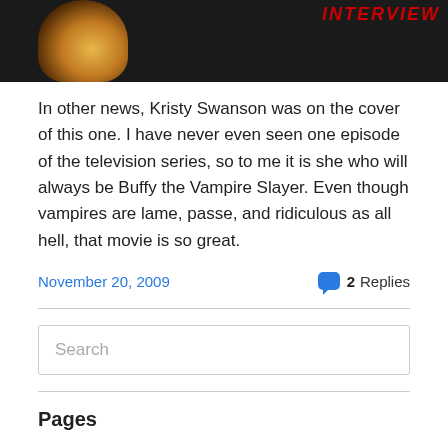[Figure (photo): Top portion of a magazine or book cover with dark background, yellowish glow (possibly a face/figure), and red bold italic text reading 'INTERVIEW' in the top right corner.]
In other news, Kristy Swanson was on the cover of this one. I have never even seen one episode of the television series, so to me it is she who will always be Buffy the Vampire Slayer. Even though vampires are lame, passe, and ridiculous as all hell, that movie is so great.
November 20, 2009
2 Replies
Search
Pages